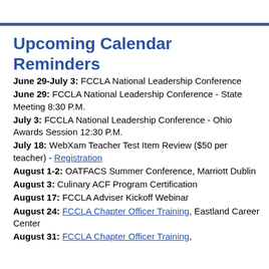Upcoming Calendar Reminders
June 29-July 3: FCCLA National Leadership Conference
June 29: FCCLA National Leadership Conference - State Meeting 8:30 P.M.
July 3: FCCLA National Leadership Conference - Ohio Awards Session 12:30 P.M.
July 18: WebXam Teacher Test Item Review ($50 per teacher) - Registration
August 1-2: OATFACS Summer Conference, Marriott Dublin
August 3: Culinary ACF Program Certification
August 17: FCCLA Adviser Kickoff Webinar
August 24: FCCLA Chapter Officer Training, Eastland Career Center
August 31: FCCLA Chapter Officer Training,